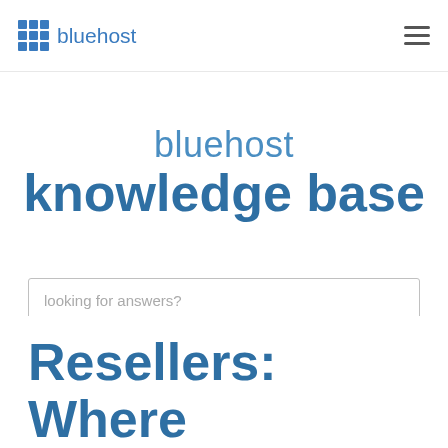bluehost
bluehost knowledge base
looking for answers?
search
Resellers: Where